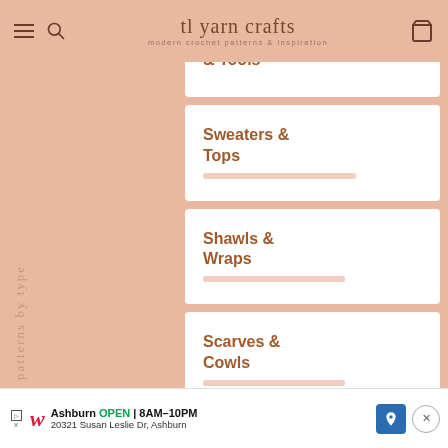tl yarn crafts — modern crochet patterns & inspiration
& Tools (partially visible)
Sweaters & Tops
Shawls & Wraps
Scarves & Cowls
Hats & Headbands (partially visible)
patterns by type
[Figure (screenshot): Advertisement banner for Walgreens: Ashburn OPEN 8AM-10PM, 20321 Susan Leslie Dr, Ashburn]